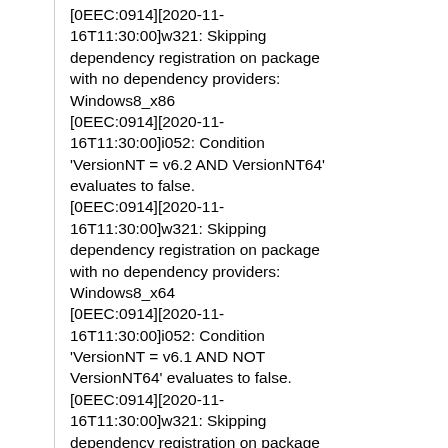[0EEC:0914][2020-11-16T11:30:00]w321: Skipping dependency registration on package with no dependency providers: Windows8_x86 [0EEC:0914][2020-11-16T11:30:00]i052: Condition 'VersionNT = v6.2 AND VersionNT64' evaluates to false. [0EEC:0914][2020-11-16T11:30:00]w321: Skipping dependency registration on package with no dependency providers: Windows8_x64 [0EEC:0914][2020-11-16T11:30:00]i052: Condition 'VersionNT = v6.1 AND NOT VersionNT64' evaluates to false. [0EEC:0914][2020-11-16T11:30:00]w321: Skipping dependency registration on package with no dependency providers: Windows7_MSU_x86 [0EEC:0914][2020-11-16T11:30:00]i052: Condition 'VersionNT = v6.1 AND VersionNT64' evaluates to false. [0EEC:0914][2020-11-16T11:30:00]w321: Skipping...